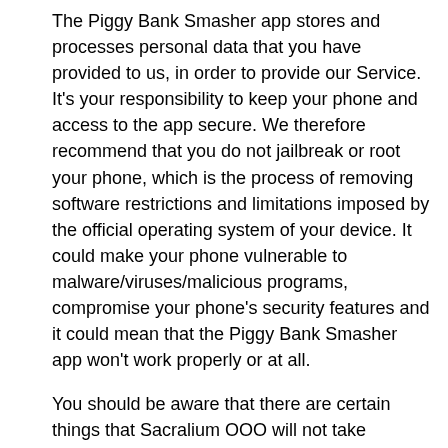The Piggy Bank Smasher app stores and processes personal data that you have provided to us, in order to provide our Service. It's your responsibility to keep your phone and access to the app secure. We therefore recommend that you do not jailbreak or root your phone, which is the process of removing software restrictions and limitations imposed by the official operating system of your device. It could make your phone vulnerable to malware/viruses/malicious programs, compromise your phone's security features and it could mean that the Piggy Bank Smasher app won't work properly or at all.
You should be aware that there are certain things that Sacralium OOO will not take responsibility for. Certain functions of the app will require the app to have an active internet connection. The connection can be Wi-Fi, or provided by your mobile network provider, but Sacralium OOO cannot take responsibility for the app not working at full functionality if you don't have access to Wi-Fi, and you don't have any of your data allowance left.
If you're using the app outside of an area with Wi-Fi, you should remember that your terms of the agreement with your mobile network provider will still apply. As a result,